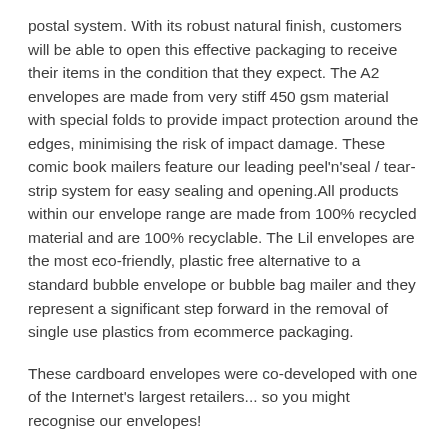postal system. With its robust natural finish, customers will be able to open this effective packaging to receive their items in the condition that they expect. The A2 envelopes are made from very stiff 450 gsm material with special folds to provide impact protection around the edges, minimising the risk of impact damage. These comic book mailers feature our leading peel'n'seal / tear-strip system for easy sealing and opening.All products within our envelope range are made from 100% recycled material and are 100% recyclable. The Lil envelopes are the most eco-friendly, plastic free alternative to a standard bubble envelope or bubble bag mailer and they represent a significant step forward in the removal of single use plastics from ecommerce packaging.
These cardboard envelopes were co-developed with one of the Internet's largest retailers... so you might recognise our envelopes!
This product fits through the 'large letter' tariff of both the Royal Mail and AusPost. Pricing in proportion is therefore made easy with this superb envelope.